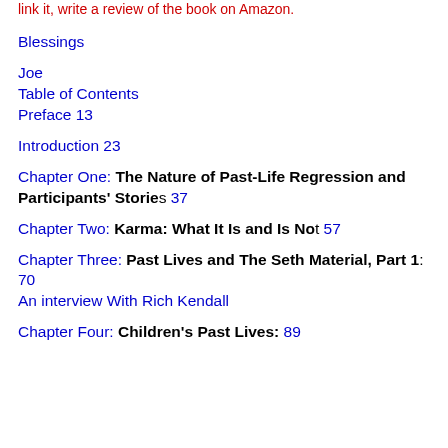link it, write a review of the book on Amazon.
Blessings
Joe
Table of Contents
Preface 13
Introduction 23
Chapter One: The Nature of Past-Life Regression and Participants' Stories 37
Chapter Two: Karma: What It Is and Is Not 57
Chapter Three: Past Lives and The Seth Material, Part 1: 70 An interview With Rich Kendall
Chapter Four: Children's Past Lives: 89